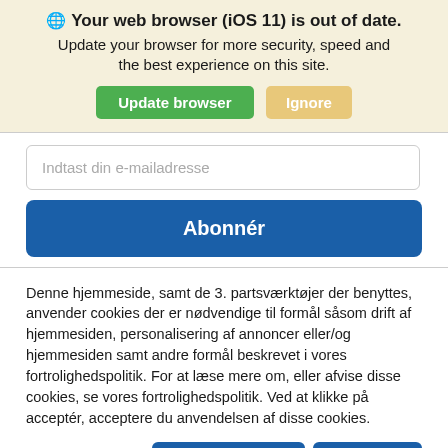🌐 Your web browser (iOS 11) is out of date. Update your browser for more security, speed and the best experience on this site.
Update browser | Ignore
Indtast din e-mailadresse
Abonnér
Denne hjemmeside, samt de 3. partsværktøjer der benyttes, anvender cookies der er nødvendige til formål såsom drift af hjemmesiden, personalisering af annoncer eller/og hjemmesiden samt andre formål beskrevet i vores fortrolighedspolitik. For at læse mere om, eller afvise disse cookies, se vores fortrolighedspolitik. Ved at klikke på acceptér, acceptere du anvendelsen af disse cookies.
Fortrolighedspolitik
Administrer cookies
Acceptér alle